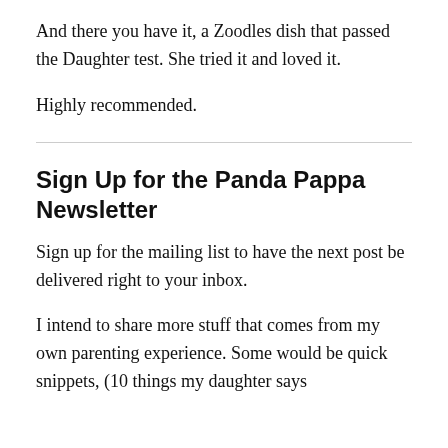And there you have it, a Zoodles dish that passed the Daughter test. She tried it and loved it.
Highly recommended.
Sign Up for the Panda Pappa Newsletter
Sign up for the mailing list to have the next post be delivered right to your inbox.
I intend to share more stuff that comes from my own parenting experience. Some would be quick snippets, (10 things my daughter says